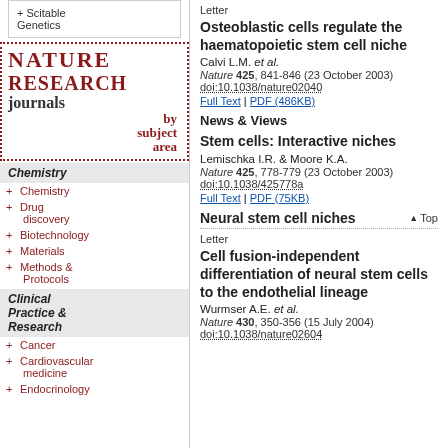Letter
Osteoblastic cells regulate the haematopoietic stem cell niche
Calvi L.M. et al.
Nature 425, 841-846 (23 October 2003) doi:10.1038/nature02040
Full Text | PDF (486KB)
News & Views
Stem cells: Interactive niches
Lemischka I.R. & Moore K.A.
Nature 425, 778-779 (23 October 2003) doi:10.1038/425778a
Full Text | PDF (75KB)
Neural stem cell niches
Letter
Cell fusion-independent differentiation of neural stem cells to the endothelial lineage
Wurmser A.E. et al.
Nature 430, 350-356 (15 July 2004) doi:10.1038/nature02604
+ Scitable Genetics
[Figure (logo): Nature Research journals by subject area logo]
Chemistry
+ Chemistry
+ Drug discovery
+ Biotechnology
+ Materials
+ Methods & Protocols
Clinical Practice & Research
+ Cancer
+ Cardiovascular medicine
+ Endocrinology